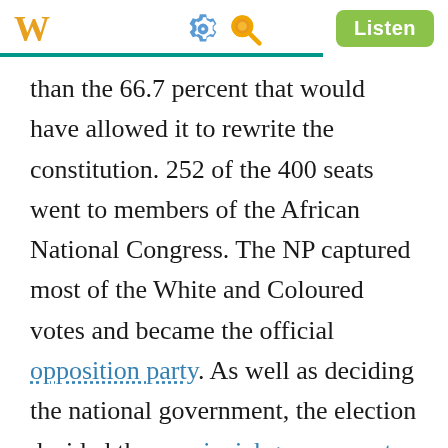W  [gear icon] [search icon]  Listen
than the 66.7 percent that would have allowed it to rewrite the constitution. 252 of the 400 seats went to members of the African National Congress. The NP captured most of the White and Coloured votes and became the official opposition party. As well as deciding the national government, the election decided the provincial governments, and the ANC won in seven of the nine provinces, with